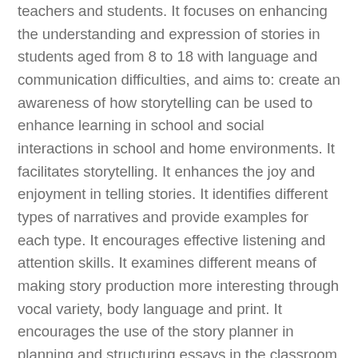teachers and students. It focuses on enhancing the understanding and expression of stories in students aged from 8 to 18 with language and communication difficulties, and aims to: create an awareness of how storytelling can be used to enhance learning in school and social interactions in school and home environments. It facilitates storytelling. It enhances the joy and enjoyment in telling stories. It identifies different types of narratives and provide examples for each type. It encourages effective listening and attention skills. It examines different means of making story production more interesting through vocal variety, body language and print. It encourages the use of the story planner in planning and structuring essays in the classroom and for homework. Dr Victoria Joffe is a specialist speech and language